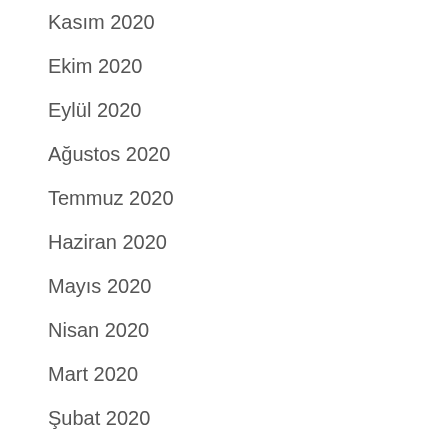Kasım 2020
Ekim 2020
Eylül 2020
Ağustos 2020
Temmuz 2020
Haziran 2020
Mayıs 2020
Nisan 2020
Mart 2020
Şubat 2020
Ocak 2020
Aralık 2019
Kasım 2019
Ekim 2019
Eylül 2019